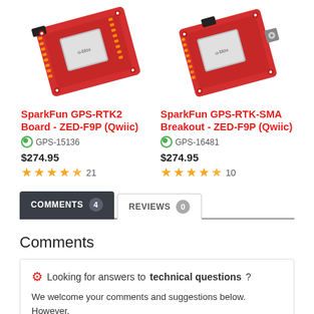[Figure (photo): SparkFun GPS-RTK2 Board - ZED-F9P (Qwiic) red PCB with USB connector]
[Figure (photo): SparkFun GPS-RTK-SMA Breakout - ZED-F9P (Qwiic) red PCB with SMA connector]
SparkFun GPS-RTK2 Board - ZED-F9P (Qwiic)
GPS-15136
$274.95
★★★★½ 21
SparkFun GPS-RTK-SMA Breakout - ZED-F9P (Qwiic)
GPS-16481
$274.95
★★★★½ 10
COMMENTS 4   REVIEWS 0
Comments
⚙ Looking for answers to technical questions?
We welcome your comments and suggestions below. However, if you are looking for solutions to technical questions,